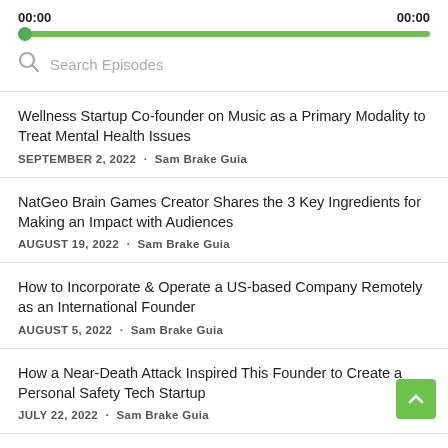[Figure (screenshot): Audio player progress bar with 00:00 timestamps on left and right, green bar fully filled, and green circle dot at start]
Search Episodes
Wellness Startup Co-founder on Music as a Primary Modality to Treat Mental Health Issues
SEPTEMBER 2, 2022 · Sam Brake Guia
NatGeo Brain Games Creator Shares the 3 Key Ingredients for Making an Impact with Audiences
AUGUST 19, 2022 · Sam Brake Guia
How to Incorporate & Operate a US-based Company Remotely as an International Founder
AUGUST 5, 2022 · Sam Brake Guia
How a Near-Death Attack Inspired This Founder to Create a Personal Safety Tech Startup
JULY 22, 2022 · Sam Brake Guia